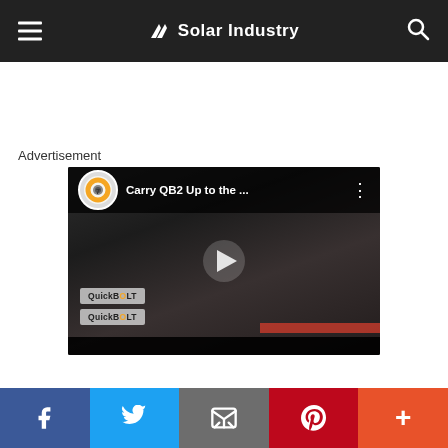Solar Industry
Advertisement
[Figure (screenshot): YouTube video embed showing 'Carry QB2 Up to the ...' with QuickBolt branded boxes stacked on a rooftop, with a play button overlay and channel logo]
Social sharing bar: Facebook, Twitter, Email, Pinterest, More